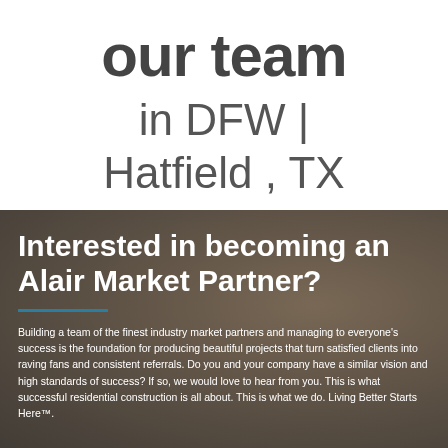our team in DFW | Hatfield , TX
Interested in becoming an Alair Market Partner?
Building a team of the finest industry market partners and managing to everyone's success is the foundation for producing beautiful projects that turn satisfied clients into raving fans and consistent referrals. Do you and your company have a similar vision and high standards of success? If so, we would love to hear from you. This is what successful residential construction is all about. This is what we do. Living Better Starts Here™.